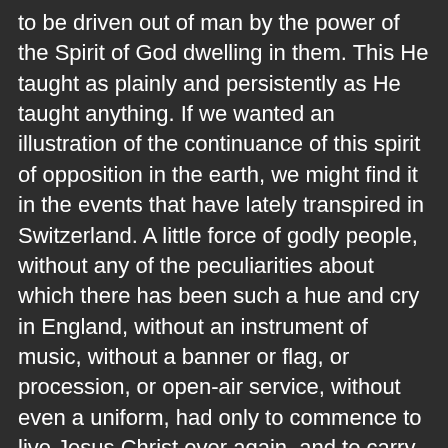to be driven out of man by the power of the Spirit of God dwelling in them. This He taught as plainly and persistently as He taught anything. If we wanted an illustration of the continuance of this spirit of opposition in the earth, we might find it in the events that have lately transpired in Switzerland. A little force of godly people, without any of the peculiarities about which there has been such a hue and cry in England, without an instrument of music, without a banner or flag, or procession, or open-air service, without even a uniform, had only to commence to live Jesus Christ over again, and to carry out His orders in thrusting His claims on their fellow-men, when wicked rulers combined with those who profit by the vilest kinds of vice to mob them, drive them out, put them down, or kill them, as the case might be. Why? Because the instinct of the evil one recognized the Spirit of Jesus Christ. The